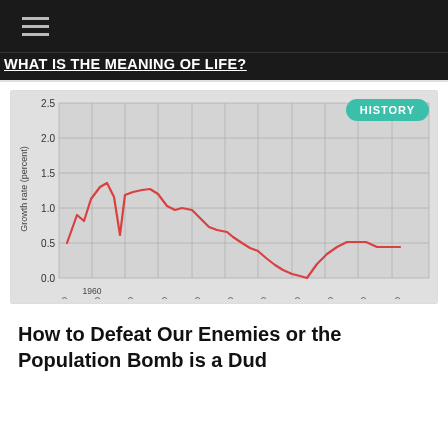WHAT IS THE MEANING OF LIFE?
[Figure (continuous-plot): Line chart showing world population growth rate (percent) from approximately 1950 to 2050. The rate rises from about 1.5% in 1950, peaks near 2.2% around 1963, dips slightly then peaks again around 2.1% in 1970, then steadily declines to about 0.5% by 2050.]
How to Defeat Our Enemies or the Population Bomb is a Dud